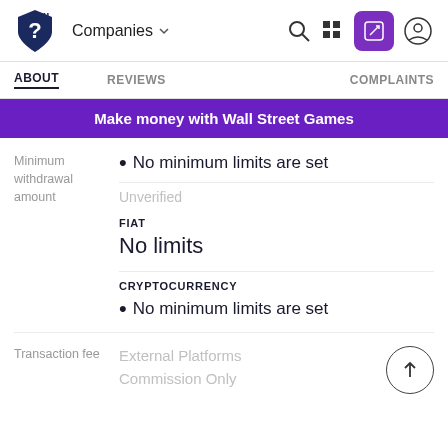Companies | Search | Grid | Edit | User
ABOUT  REVIEWS  COMPLAINTS
Make money with Wall Street Games
Minimum withdrawal amount
• No minimum limits are set
Unverified
FIAT
No limits
CRYPTOCURRENCY
No minimum limits are set
Transaction fee
External Platforms
Commission Only